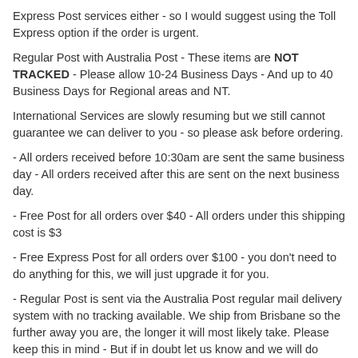Express Post services either - so I would suggest using the Toll Express option if the order is urgent.
Regular Post with Australia Post - These items are NOT TRACKED - Please allow 10-24 Business Days - And up to 40 Business Days for Regional areas and NT.
International Services are slowly resuming but we still cannot guarantee we can deliver to you - so please ask before ordering.
- All orders received before 10:30am are sent the same business day - All orders received after this are sent on the next business day.
- Free Post for all orders over $40 - All orders under this shipping cost is $3
- Free Express Post for all orders over $100 - you don't need to do anything for this, we will just upgrade it for you.
- Regular Post is sent via the Australia Post regular mail delivery system with no tracking available. We ship from Brisbane so the further away you are, the longer it will most likely take. Please keep this in mind - But if in doubt let us know and we will do what we can to help you out.
- Express Post $11 - 2-5 Business days to all major cities and most regional areas, and NT and remote WA. Cannot deliver to P.O. Box Address.